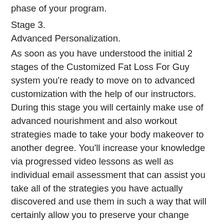phase of your program.
Stage 3.
Advanced Personalization.
As soon as you have understood the initial 2 stages of the Customized Fat Loss For Guy system you’re ready to move on to advanced customization with the help of our instructors. During this stage you will certainly make use of advanced nourishment and also workout strategies made to take your body makeover to another degree. You’ll increase your knowledge via progressed video lessons as well as individual email assessment that can assist you take all of the strategies you have actually discovered and use them in such a way that will certainly allow you to preserve your change results with time. This stage is designed to educate you just how to live, eat and also work out in a manner that can provide a lean solid body over the long term.